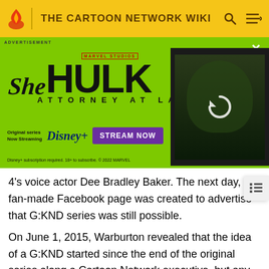THE CARTOON NETWORK WIKI
[Figure (screenshot): She-Hulk Attorney at Law advertisement banner on green background with character photo]
4's voice actor Dee Bradley Baker. The next day, a fan-made Facebook page was created to advertise that G:KND series was still possible.
On June 1, 2015, Warburton revealed that the idea of a G:KND started since the end of the original series along a Cartoon Network executive, but any came in fruition, so he wrote a script.
Eighteen days later, Warburton revealed that Cartoon